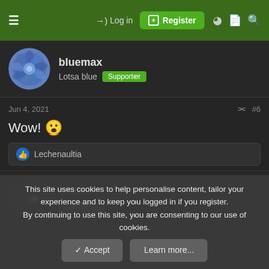≡  →) Log in  [+] Register
bluemax
Lotsa blue  Supporter
Jun 4, 2021  #6
Wow! 😮
👍 Lechenaultia
collin
Supporter
This site uses cookies to help personalise content, tailor your experience and to keep you logged in if you register.
By continuing to use this site, you are consenting to our use of cookies.
✓ Accept   Learn more...